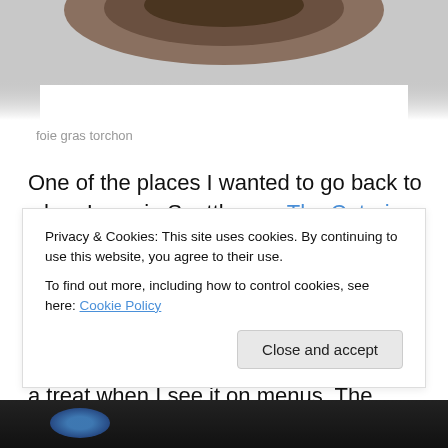[Figure (photo): Top portion of a food photo showing foie gras torchon on a white plate, partially cropped]
foie gras torchon
One of the places I wanted to go back to when I was in Seattle was The Coterie Room. When I first visited years ago, they had just opened and I had promised myself I would try their food. I was so happy to find they had foie gras. Being from a foie gras banned state, it's always a treat when I see it on menus. The bartender later said he could always tell when people are from California because
Privacy & Cookies: This site uses cookies. By continuing to use this website, you agree to their use.
To find out more, including how to control cookies, see here: Cookie Policy
Close and accept
[Figure (photo): Bottom portion of a dark photo, partially visible at the bottom of the page]